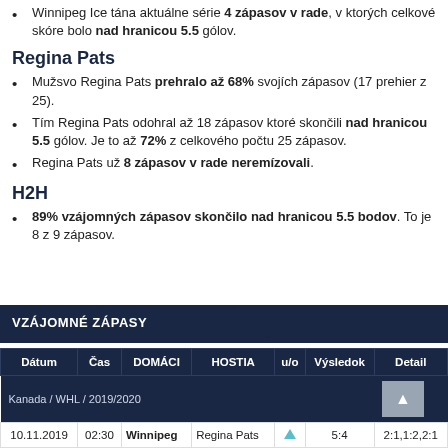Winnipeg Ice tána aktuálne série 4 zápasov v rade, v ktorých celkové skóre bolo nad hranicou 5.5 gólov.
Regina Pats
Mužsvo Regina Pats prehralo až 68% svojich zápasov (17 prehier z 25).
Tím Regina Pats odohral až 18 zápasov ktoré skončili nad hranicou 5.5 gólov. Je to až 72% z celkového počtu 25 zápasov.
Regina Pats už 8 zápasov v rade neremízovali.
H2H
89% vzájomných zápasov skončilo nad hranicou 5.5 bodov. To je 8 z 9 zápasov.
VZÁJOMNÉ ZÁPASY
| Dátum | Čas | DOMÁCI | HOSTIA | u/o | Výsledok | Detail |
| --- | --- | --- | --- | --- | --- | --- |
| Kanada / WHL / 2019/2020 |  |  |  |  |  |  |
| 10.11.2019 | 02:30 | Winnipeg | Regina Pats | ▲ | 5:4 | 2:1,1:2,2:1 |